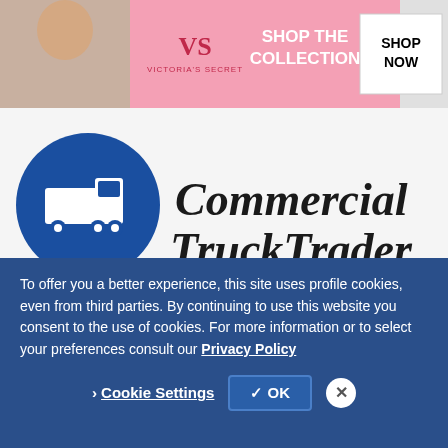[Figure (illustration): Victoria's Secret advertisement banner with model photo, VS logo, 'SHOP THE COLLECTION' text, and 'SHOP NOW' button in pink and white]
[Figure (logo): Commercial Truck Trader logo with blue circle containing white truck icon and large serif text 'Commercial TruckTrader TM']
© 2022 Trader Interactive | CommercialTruckTrader.com All Rights Reserved.
[Figure (illustration): BBB Accredited Business badge with blue background, BBB torch logo, 'ACCREDITED BUSINESS' text, and 'BBB Rating: A+' below]
To offer you a better experience, this site uses profile cookies, even from third parties. By continuing to use this website you consent to the use of cookies. For more information or to select your preferences consult our Privacy Policy
Cookie Settings   ✓ OK